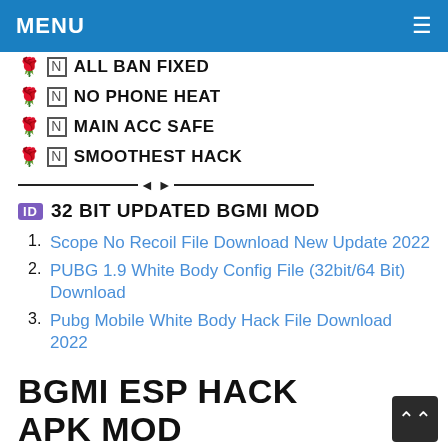MENU
🌹 ☑ ALL BAN FIXED
🌹 ☑ NO PHONE HEAT
🌹 ☑ MAIN ACC SAFE
🌹 ☑ SMOOTHEST HACK
🆔 32 BIT UPDATED BGMI MOD
Scope No Recoil File Download New Update 2022
PUBG 1.9 White Body Config File (32bit/64 Bit) Download
Pubg Mobile White Body Hack File Download 2022
BGMI ESP HACK APK MOD